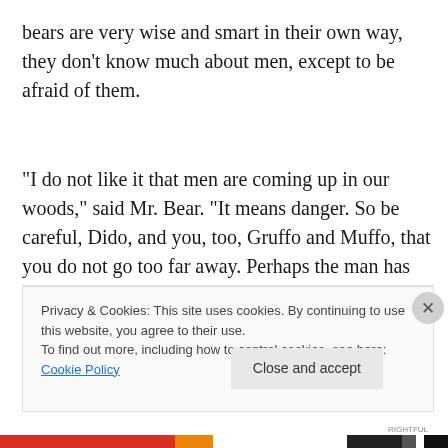bears are very wise and smart in their own way, they don't know much about men, except to be afraid of them.
“I do not like it that men are coming up in our woods,” said Mr. Bear. “It means danger. So be careful, Dido, and you, too, Gruffo and Muffo, that you do not go too far away. Perhaps the man has come up here to set a trap to catch us.”
Privacy & Cookies: This site uses cookies. By continuing to use this website, you agree to their use.
To find out more, including how to control cookies, see here: Cookie Policy